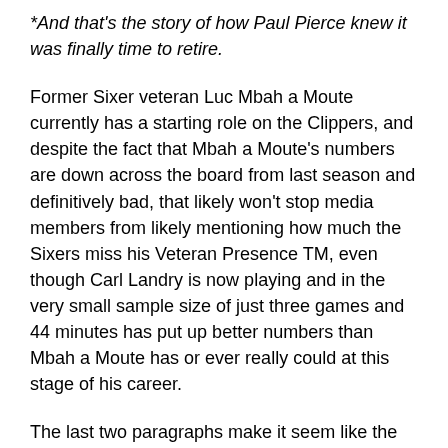*And that's the story of how Paul Pierce knew it was finally time to retire.
Former Sixer veteran Luc Mbah a Moute currently has a starting role on the Clippers, and despite the fact that Mbah a Moute's numbers are down across the board from last season and definitively bad, that likely won't stop media members from likely mentioning how much the Sixers miss his Veteran Presence TM, even though Carl Landry is now playing and in the very small sample size of just three games and 44 minutes has put up better numbers than Mbah a Moute has or ever really could at this stage of his career.
The last two paragraphs make it seem like the Clippers are down and this could be an easy win, mainly because I have neglected to mention Chris Paul,